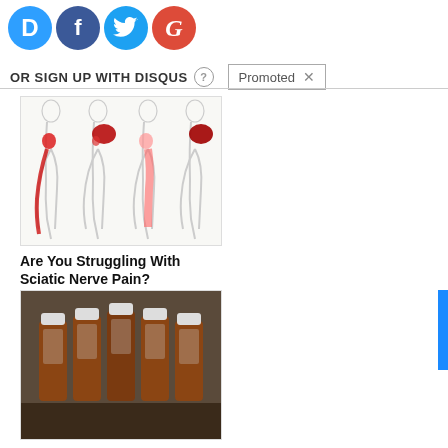[Figure (illustration): Four social login icons: Disqus (blue circle D), Facebook (dark blue circle f), Twitter (light blue circle bird), Google (red circle G)]
OR SIGN UP WITH DISQUS
Promoted X
[Figure (illustration): Medical diagram showing four human body silhouettes highlighting sciatic nerve pain areas in red along the back, hip, and leg]
Are You Struggling With Sciatic Nerve Pain?
🔥 1,446
[Figure (photo): Multiple brown prescription medication bottles arranged in a row on a dark surface]
Why Doctors In The Know No Longer Prescribe Blood Pressure Meds
🔥 116,923